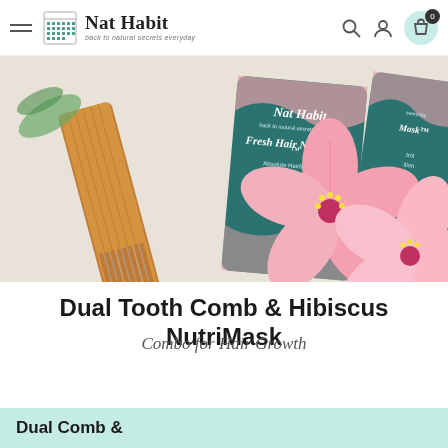Nat Habit — back to natural secrets everyday — navigation bar with search, account, and cart (0) icons
[Figure (photo): Product flat-lay photo showing a wooden dual-tooth comb, two teal packets of Nat Habit Fresh Hair NutriMask (Absolute Hairfall Control, Complete Hair Nutrition, Five Oil Hibiscus Fuse, Refrigerate), and two pink hibiscus flowers on a light linen background.]
Dual Tooth Comb & Hibiscus NutriMask
Combo for Hair Growth
Dual Comb &